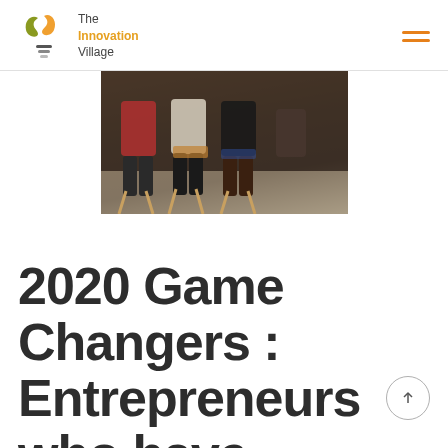The Innovation Village
[Figure (photo): Group of people seated on chairs in a panel or meeting setting, partial view showing lower bodies and chairs]
2020 Game Changers : Entrepreneurs who have inspired us